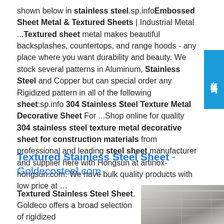shown below in stainless steel.sp.infoEmbossed Sheet Metal & Textured Sheets | Industrial Metal ...Textured sheet metal makes beautiful backsplashes, countertops, and range hoods - any place where you want durability and beauty. We stock several patterns in Aluminum, Stainless Steel and Copper but can special order any Rigidized pattern in all of the following sheet:sp.info 304 Stainless Steel Texture Metal Decorative Sheet For ...Shop online for quality 304 stainless steel texture metal decorative sheet for construction materials from professional and leading steel sheet manufacturer and supplier here with Hongsun at artinox-hongsun.com. We have bulk quality products with low price at …
Textured Stainless Steel Sheet - Goldecosteel.com
Textured Stainless Steel Sheet. Goldeco offers a broad selection of rigidized
[Figure (photo): Partial photo of textured/rigidized stainless steel sheets, grey tones]